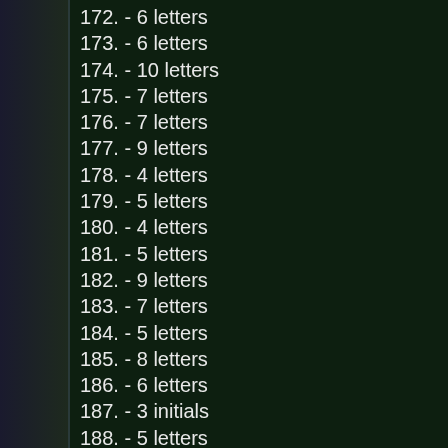172. - 6 letters
173. - 6 letters
174. - 10 letters
175. - 7 letters
176. - 7 letters
177. - 9 letters
178. - 4 letters
179. - 5 letters
180. - 4 letters
181. - 5 letters
182. - 9 letters
183. - 7 letters
184. - 5 letters
185. - 8 letters
186. - 6 letters
187. - 3 initials
188. - 5 letters
189. - 4 letters
190. -6 letters
191. - 11 letters